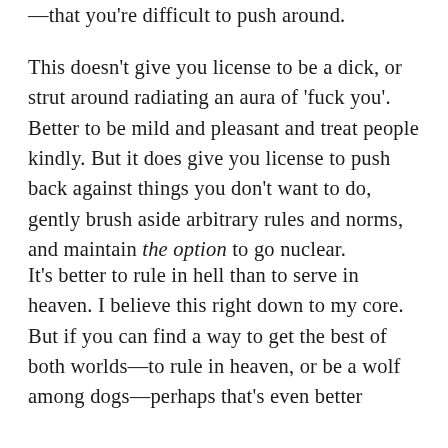—that you're difficult to push around.
This doesn't give you license to be a dick, or strut around radiating an aura of 'fuck you'. Better to be mild and pleasant and treat people kindly. But it does give you license to push back against things you don't want to do, gently brush aside arbitrary rules and norms, and maintain the option to go nuclear.
It's better to rule in hell than to serve in heaven. I believe this right down to my core. But if you can find a way to get the best of both worlds—to rule in heaven, or be a wolf among dogs—perhaps that's even better